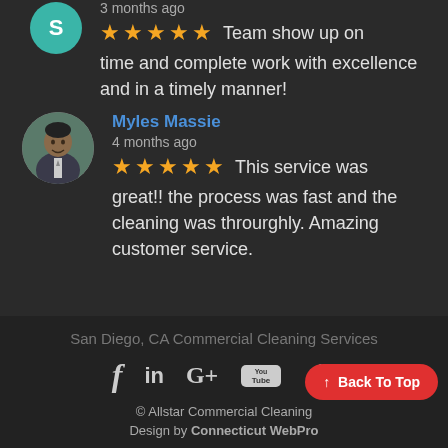3 months ago
★★★★★ Team show up on time and complete work with excellence and in a timely manner!
Myles Massie
4 months ago
★★★★★ This service was great!! the process was fast and the cleaning was throurghly. Amazing customer service.
San Diego, CA Commercial Cleaning Services
© Allstar Commercial Cleaning
Design by Connecticut WebPro